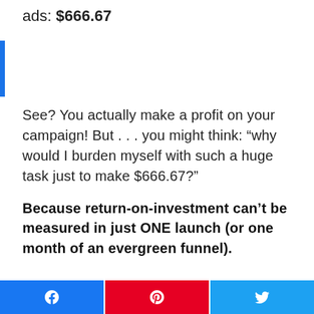ads: $666.67
See? You actually make a profit on your campaign! But . . . you might think: “why would I burden myself with such a huge task just to make $666.67?”
Because return-on-investment can’t be measured in just ONE launch (or one month of an evergreen funnel).
Let’s say you go to relaunch again in 6